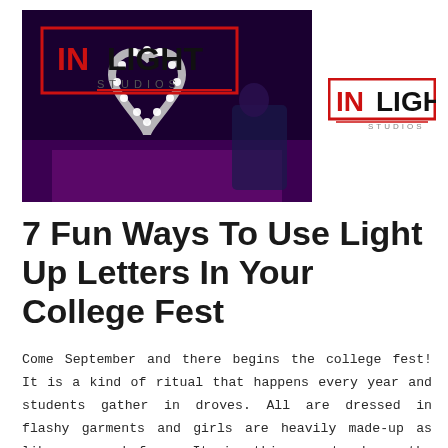[Figure (photo): Dark purple-lit room with a large heart-shaped marquee light installation and a person sitting nearby. InLight Studios logo watermark overlay on the photo.]
[Figure (logo): InLight Studios logo: red box with white IN text, black LIGHT text, red underline with STUDIOS text in grey]
7 Fun Ways To Use Light Up Letters In Your College Fest
Come September and there begins the college fest! It is a kind of ritual that happens every year and students gather in droves. All are dressed in flashy garments and girls are heavily made-up as like never before. It is this event where the glamour quotient is very